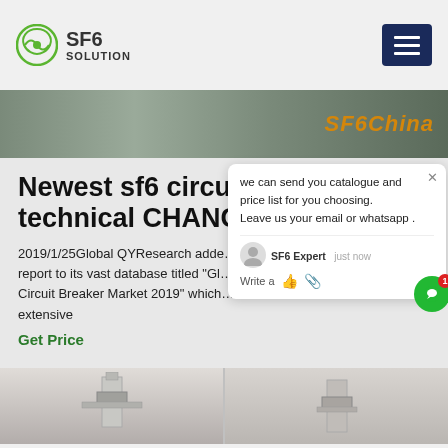SF6 SOLUTION
[Figure (screenshot): Website banner showing outdoor industrial scene with 'SF6China' text overlay in orange]
Newest sf6 circuit breaker technical CHANGC…
2019/1/25Global QYResearch added a c… report to its vast database titled "Gl… Circuit Breaker Market 2019" which… extensive
Get Price
[Figure (screenshot): Chat popup widget with SF6 Expert message: 'we can send you catalogue and price list for you choosing. Leave us your email or whatsapp .']
[Figure (photo): Bottom section showing two product images of SF6 circuit breaker equipment]